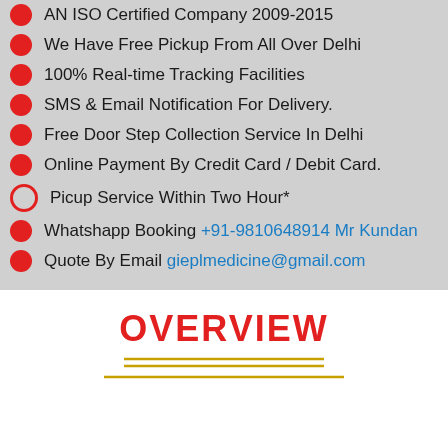AN ISO Certified Company 2009-2015
We Have Free Pickup From All Over Delhi
100% Real-time Tracking Facilities
SMS & Email Notification For Delivery.
Free Door Step Collection Service In Delhi
Online Payment By Credit Card / Debit Card.
Picup Service Within Two Hour*
Whatshapp Booking +91-9810648914 Mr Kundan
Quote By Email gieplmedicine@gmail.com
OVERVIEW